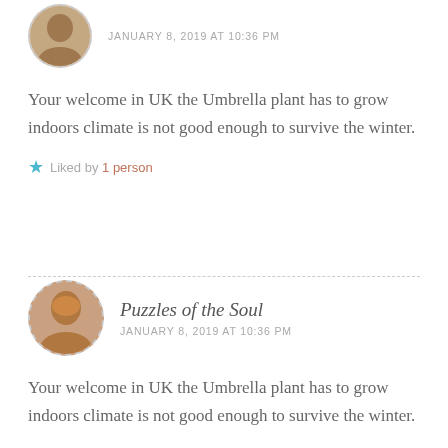[Figure (photo): Cropped avatar photo at top of first comment]
JANUARY 8, 2019 AT 10:36 PM
Your welcome in UK the Umbrella plant has to grow indoors climate is not good enough to survive the winter.
Liked by 1 person
[Figure (photo): Avatar photo of commenter Puzzles of the Soul]
Puzzles of the Soul
JANUARY 8, 2019 AT 10:36 PM
Your welcome in UK the Umbrella plant has to grow indoors climate is not good enough to survive the winter.
Liked by 1 person